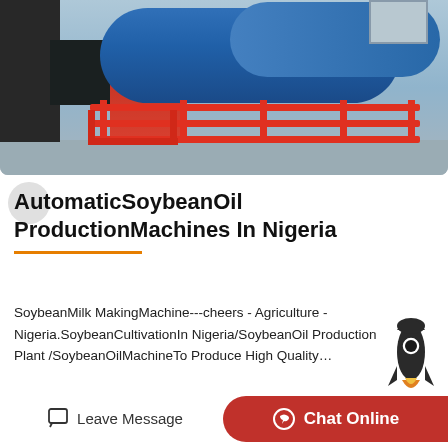[Figure (photo): Industrial machinery photo showing blue cylindrical equipment and red metal railings/framework in a factory setting]
AutomaticSoybeanOil ProductionMachines In Nigeria
SoybeanMilk MakingMachine---cheers - Agriculture - Nigeria.SoybeanCultivationIn Nigeria/SoybeanOil Production Plant /SoybeanOilMachineTo Produce High Quality…
[Figure (illustration): Rocket emoji/illustration]
Leave Message   Chat Online